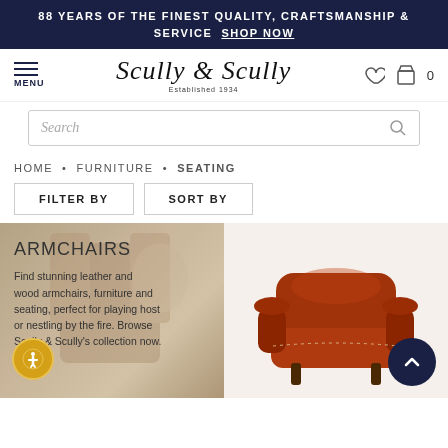88 YEARS OF THE FINEST QUALITY, CRAFTSMANSHIP & SERVICE SHOP NOW
[Figure (logo): Scully & Scully script logo with 'Established 1934' tagline]
Search
HOME • FURNITURE • SEATING
FILTER BY
SORT BY
[Figure (photo): Armchairs category banner with background image of furniture/decor, overlay text: ARMCHAIRS - Find stunning leather and wood armchairs, furniture and seating, perfect for playing host or nestling by the fire. Browse Scully & Scully's collection now.]
[Figure (photo): Red/burgundy leather armchair product photo with nail-head trim on cream/beige background]